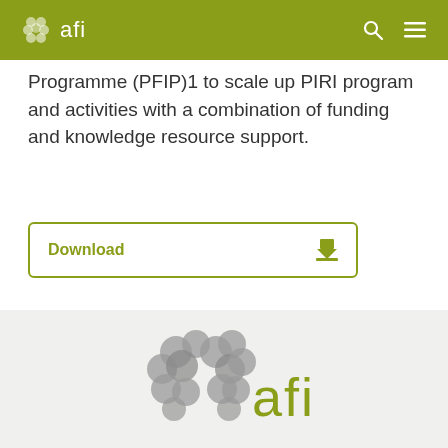afi
Programme (PFIP)1 to scale up PIRI program and activities with a combination of funding and knowledge resource support.
[Figure (other): Download button with olive/yellow-green border and label]
[Figure (logo): AFI (Alliance for Financial Inclusion) logo in footer — grey brain-like icon with olive/yellow-green 'afi' text]